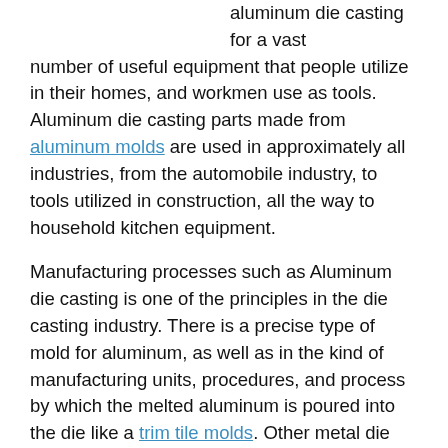aluminum die casting for a vast number of useful equipment that people utilize in their homes, and workmen use as tools. Aluminum die casting parts made from aluminum molds are used in approximately all industries, from the automobile industry, to tools utilized in construction, all the way to household kitchen equipment.
Manufacturing processes such as Aluminum die casting is one of the principles in the die casting industry. There is a precise type of mold for aluminum, as well as in the kind of manufacturing units, procedures, and process by which the melted aluminum is poured into the die like a trim tile molds. Other metal die casting materials are not produced in the same vast numbers.
The die element is always created of steel in aluminum die casting, as contrasting to other molds that are manufactured from other assortment of material. In the production of aluminum die casting parts, molten metal is poured into the